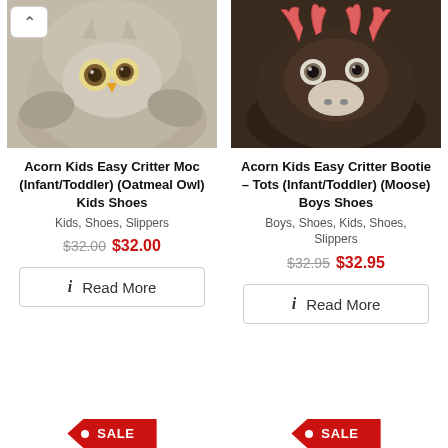[Figure (photo): Owl slipper shoe (Acorn Kids Easy Critter Moc, Oatmeal Owl) - close-up of fuzzy tan/grey slipper with owl face]
[Figure (photo): Moose slipper shoe (Acorn Kids Easy Critter Bootie, Moose) - close-up of dark brown slipper with moose face, pink antlers]
Acorn Kids Easy Critter Moc (Infant/Toddler) (Oatmeal Owl) Kids Shoes
Kids, Shoes, Slippers
$32.00 $32.00
Read More
Acorn Kids Easy Critter Bootie – Tots (Infant/Toddler) (Moose) Boys Shoes
Boys, Shoes, Kids, Shoes, Slippers
$32.95 $32.95
Read More
SALE
SALE